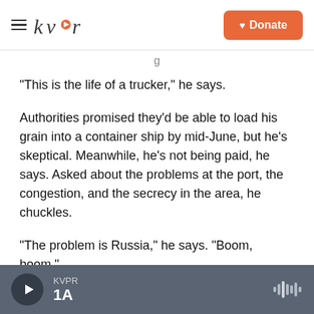kvpr | Donate
"This is the life of a trucker," he says.
Authorities promised they'd be able to load his grain into a container ship by mid-June, but he's skeptical. Meanwhile, he's not being paid, he says. Asked about the problems at the port, the congestion, and the secrecy in the area, he chuckles.
"The problem is Russia," he says. "Boom, boom."
Copyright 2022 NPR. To see more, visit
KVPR 1A